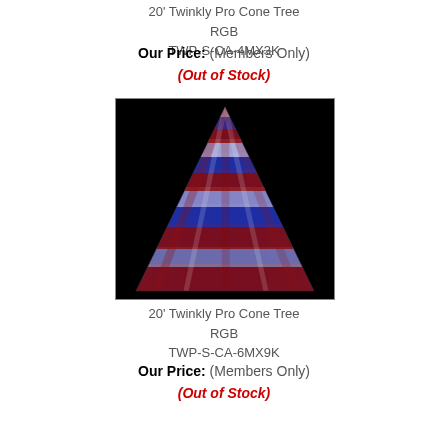20' Twinkly Pro Cone Tree
RGB
TWP-S-CA-4MX3K
Our Price: (Members Only)
(Out of Stock)
[Figure (photo): A tall cone-shaped light display with red, blue, and white spiral stripes of LED lights against a black background — a 20' Twinkly Pro Cone Tree RGB model TWP-S-CA-6MX9K.]
20' Twinkly Pro Cone Tree
RGB
TWP-S-CA-6MX9K
Our Price: (Members Only)
(Out of Stock)